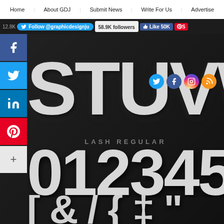Home | About GDJ | Submit News | Write For Us | Advertise
[Figure (screenshot): Social media follow bar with Twitter follow button showing @graphicdesignju, 58.9K followers pill, Facebook Like 50K button, and partial Pinterest button. Also shows 12.8K count.]
[Figure (illustration): Large stylized uppercase letters 'STUVWXY' in Lash Regular font, white/silver on dark background]
[Figure (other): Social icons overlay: Twitter, Facebook, Instagram, RSS circles]
LASH REGULAR
[Figure (illustration): Large stylized digits '01234567 8' in Lash Regular font, white/silver on dark background]
[Figure (illustration): Large stylized special characters in Lash Regular font, white/silver on dark background]